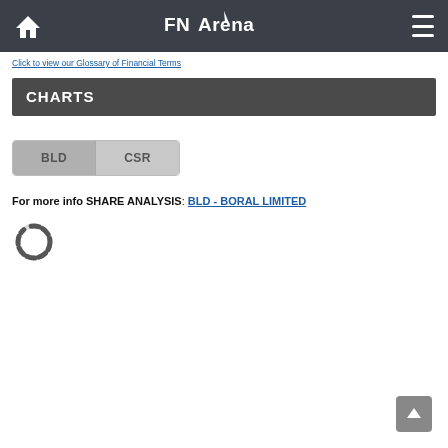FNArena
Click to view our Glossary of Financial Terms
CHARTS
BLD  CSR
For more info SHARE ANALYSIS: BLD - BORAL LIMITED
[Figure (other): Loading spinner/progress indicator circle]
[Figure (other): Scroll to top button]